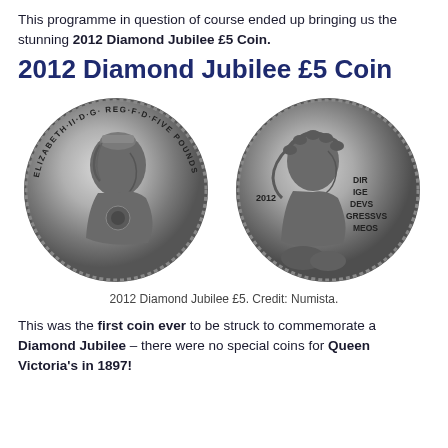This programme in question of course ended up bringing us the stunning 2012 Diamond Jubilee £5 Coin.
2012 Diamond Jubilee £5 Coin
[Figure (photo): Two sides of the 2012 Diamond Jubilee £5 Coin. Left side shows the obverse with Queen Elizabeth II portrait and inscription 'ELIZABETH II D G REG F D FIVE POUNDS'. Right side shows the reverse with a figure wearing laurel wreath, inscription '2012' and 'DIR IGE DE VS GRES SVS MEOS'.]
2012 Diamond Jubilee £5. Credit: Numista.
This was the first coin ever to be struck to commemorate a Diamond Jubilee – there were no special coins for Queen Victoria's in 1897!